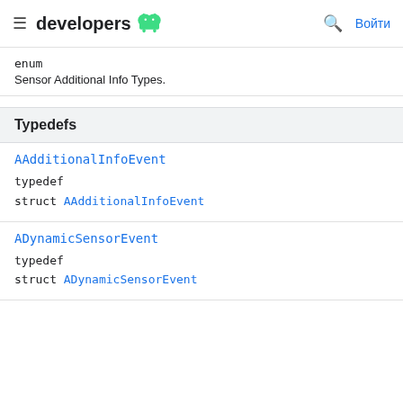developers [android logo] [search] Войти
enum
Sensor Additional Info Types.
Typedefs
AAdditionalInfoEvent
typedef
struct AAdditionalInfoEvent
ADynamicSensorEvent
typedef
struct ADynamicSensorEvent